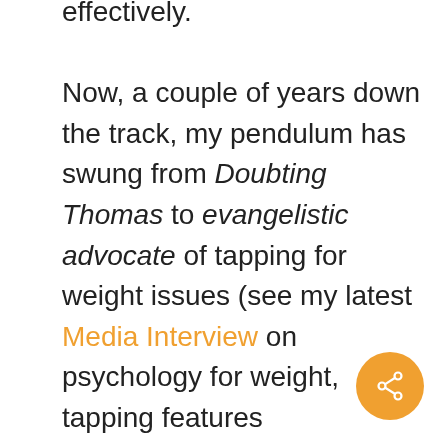effectively. Now, a couple of years down the track, my pendulum has swung from Doubting Thomas to evangelistic advocate of tapping for weight issues (see my latest Media Interview on psychology for weight, tapping features prominently) – the cool thing is, though, there's actually very little faith required to get benefit from the tapping – there's something in the tapping technique that changes your brain